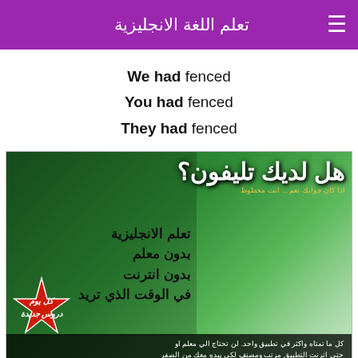تعلم اللغة الانجليزية
We had fenced
You had fenced
They had fenced
[Figure (photo): Advertisement image for an Arabic language English learning app. Large Arabic text on green background with a woman holding a phone. Text includes: هل لديك تليفون؟, تعلم الانجليزية, بدون معلم, بدون انترنت, في الوقت الذي تريد, with a red burst badge saying كل يوم دروس جديدة, and a bottom dark banner with Arabic descriptive text and URL www.learnenglish.nu]